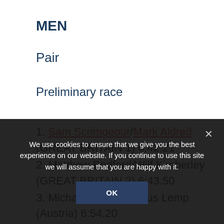MEN
Pair
Preliminary race
1. Sam Scrimgeour/Mark Aldred (GREAT BRITAIN 1) 6:42.21
2. Matthew Bedford/Wilf Kimberley (GREAT BRITAIN 2) 6:43.50
3. Michael Hager/Markus Lemp (Austria) 6:54.20
4. Hikaru Endo/Kosuke Mitsuoka (Japan) 6:59.39
We use cookies to ensure that we give you the best experience on our website. If you continue to use this site we will assume that you are happy with it.